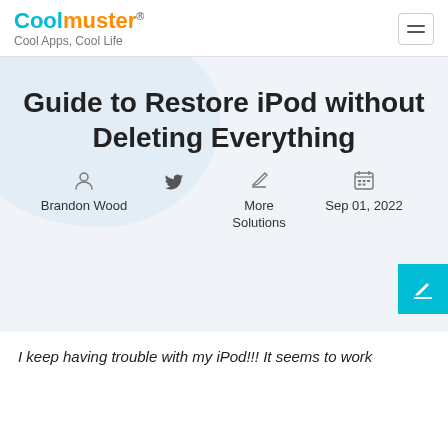Coolmuster® Cool Apps, Cool Life
Guide to Restore iPod without Deleting Everything
Brandon Wood | More Solutions | Sep 01, 2022
I keep having trouble with my iPod!!! It seems to work